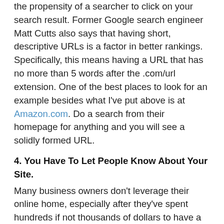the propensity of a searcher to click on your search result. Former Google search engineer Matt Cutts also says that having short, descriptive URLs is a factor in better rankings. Specifically, this means having a URL that has no more than 5 words after the .com/url extension. One of the best places to look for an example besides what I've put above is at Amazon.com. Do a search from their homepage for anything and you will see a solidly formed URL.
4. You Have To Let People Know About Your Site.
Many business owners don't leverage their online home, especially after they've spent hundreds if not thousands of dollars to have a nice web site created for them. Google is the ultimate democracy and it works by looking at the number of sites and people who link to you. While there are some caveats to this, you can prime the pump a bit. If I were a business owner, I'd take a couple minutes to create profiles on